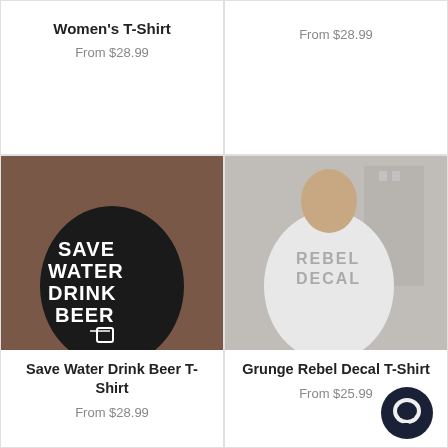Women's T-Shirt
From $28.99
From $28.99
[Figure (photo): Man wearing a black t-shirt with text 'SAVE WATER DRINK BEER' and a beer mug graphic, standing against a brick wall]
[Figure (photo): Man wearing a light grey t-shirt with 'REBEL DECAL' text, standing in an urban setting with buildings in the background]
Save Water Drink Beer T-Shirt
From $28.99
Grunge Rebel Decal T-Shirt
From $25.99